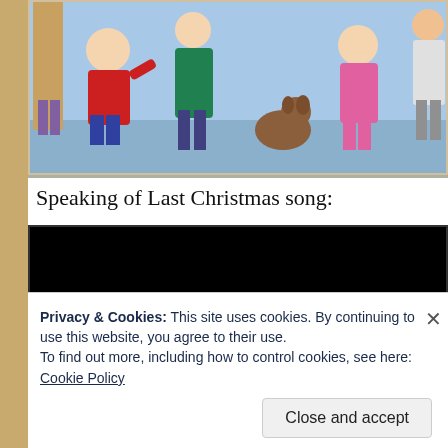[Figure (illustration): Animated cartoon scene showing several children and a dog waving, with a blue background. Partial view cropped at top.]
Speaking of Last Christmas song:
[Figure (screenshot): Black video player embed area, video not loaded.]
Privacy & Cookies: This site uses cookies. By continuing to use this website, you agree to their use.
To find out more, including how to control cookies, see here: Cookie Policy
Close and accept